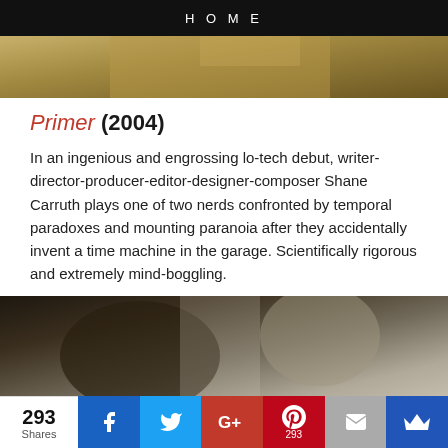HOME
[Figure (photo): Top portion of a movie still image, showing outdoor scene with warm tones]
Primer (2004)
In an ingenious and engrossing lo-tech debut, writer-director-producer-editor-designer-composer Shane Carruth plays one of two nerds confronted by temporal paradoxes and mounting paranoia after they accidentally invent a time machine in the garage. Scientifically rigorous and extremely mind-boggling.
[Figure (photo): Movie still from Primer (2004) showing two young men in dim indoor setting]
293 Shares